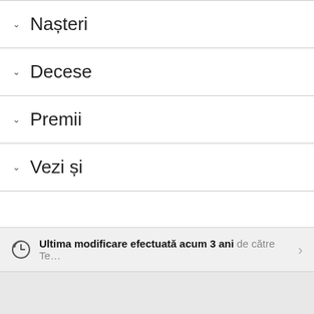Nașteri
Decese
Premii
Vezi și
Ultima modificare efectuată acum 3 ani de către Te…